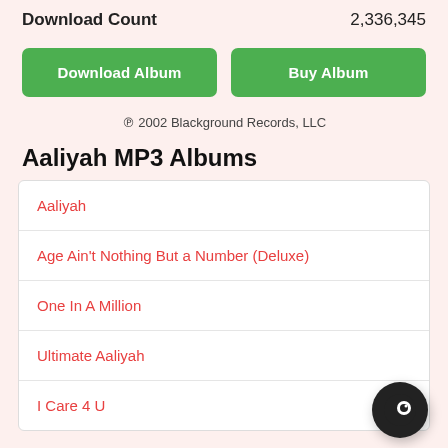Download Count   2,336,345
Download Album
Buy Album
℗ 2002 Blackground Records, LLC
Aaliyah MP3 Albums
Aaliyah
Age Ain't Nothing But a Number (Deluxe)
One In A Million
Ultimate Aaliyah
I Care 4 U